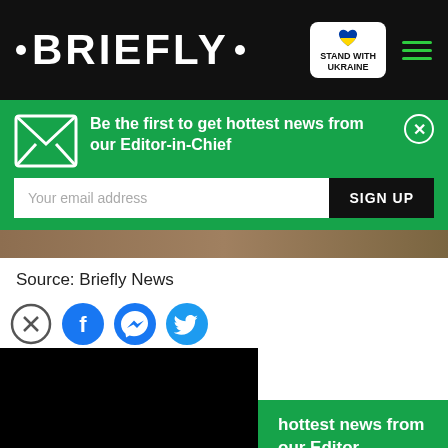• BRIEFLY •
Be the first to get hottest news from our Editor-in-Chief
Your email address
SIGN UP
Source: Briefly News
hottest news from our Editor-
SIGN UP
Find family getaways nearby
Vrbo
Book early